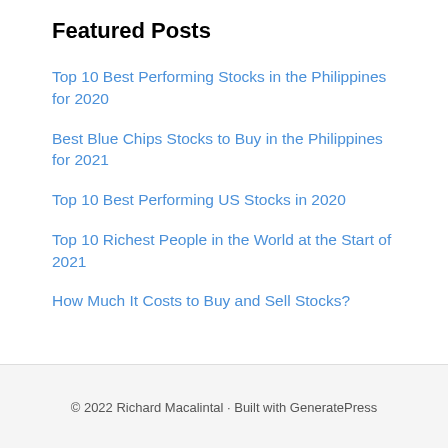Featured Posts
Top 10 Best Performing Stocks in the Philippines for 2020
Best Blue Chips Stocks to Buy in the Philippines for 2021
Top 10 Best Performing US Stocks in 2020
Top 10 Richest People in the World at the Start of 2021
How Much It Costs to Buy and Sell Stocks?
© 2022 Richard Macalintal · Built with GeneratePress